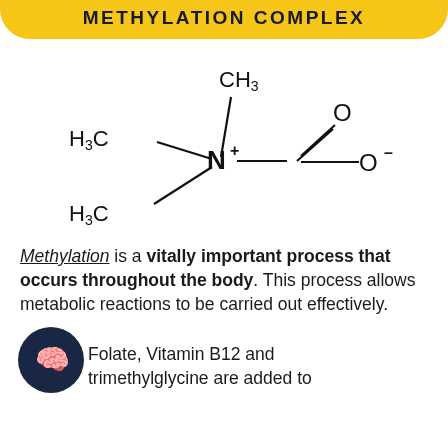METHYLATION COMPLEX
[Figure (illustration): Chemical structure diagram of betaine (trimethylglycine): a nitrogen atom with a positive charge connected to three methyl groups (CH3, H3C, H3C) and a CH2 group leading to a carboxylate group (C=O with O-)]
Methylation is a vitally important process that occurs throughout the body. This process allows metabolic reactions to be carried out effectively.
[Figure (illustration): Dark circular brain emoji icon with gold/yellow brain symbol]
Folate, Vitamin B12 and trimethylglycine are added to